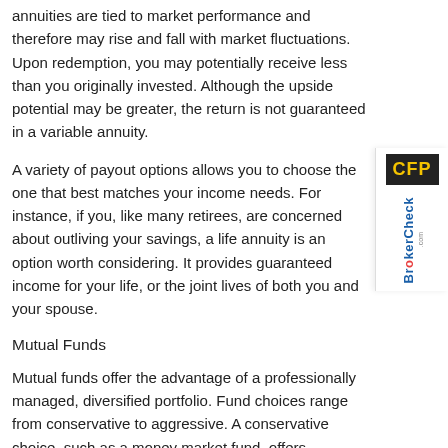annuities are tied to market performance and therefore may rise and fall with market fluctuations. Upon redemption, you may potentially receive less than you originally invested. Although the upside potential may be greater, the return is not guaranteed in a variable annuity.
A variety of payout options allows you to choose the one that best matches your income needs. For instance, if you, like many retirees, are concerned about outliving your savings, a life annuity is an option worth considering. It provides guaranteed income for your life, or the joint lives of both you and your spouse.
Mutual Funds
Mutual funds offer the advantage of a professionally managed, diversified portfolio. Fund choices range from conservative to aggressive. A conservative choice, such as a money market fund, offers maximum liquidity and safety of principal. Bond funds—both taxable and tax-exempt—provide income with low risk to principal. Stock funds offer growth potential, although with a higher risk. One possible disadvantage with mutual funds is that, since a specific fund's principal and return fluctuate according to market conditions, your shares may ultimately be worth more or less than you originally paid for them.
[Figure (logo): CFP badge logo and BrokerCheck.com vertical side badge]